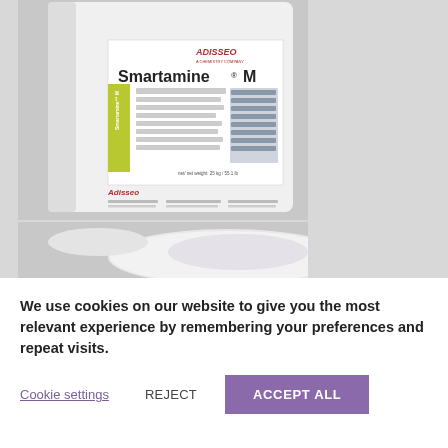[Figure (photo): A white bag of Adisseo Smartamine M product shown upright with the product label visible, including the brand logo and product name. A second partially visible white bag or pouch is shown below. Background is light gray.]
We use cookies on our website to give you the most relevant experience by remembering your preferences and repeat visits.
Cookie settings   REJECT   ACCEPT ALL